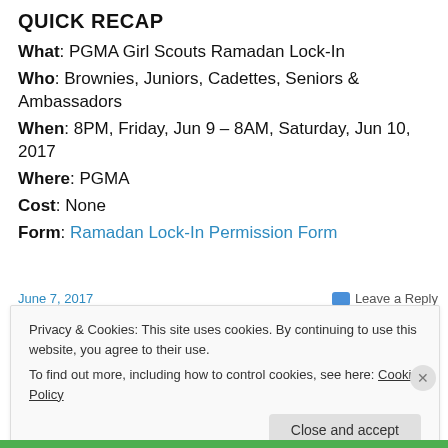QUICK RECAP
What: PGMA Girl Scouts Ramadan Lock-In
Who: Brownies, Juniors, Cadettes, Seniors & Ambassadors
When: 8PM, Friday, Jun 9 – 8AM, Saturday, Jun 10, 2017
Where: PGMA
Cost: None
Form: Ramadan Lock-In Permission Form
June 7, 2017
Leave a Reply
Privacy & Cookies: This site uses cookies. By continuing to use this website, you agree to their use.
To find out more, including how to control cookies, see here: Cookie Policy
Close and accept